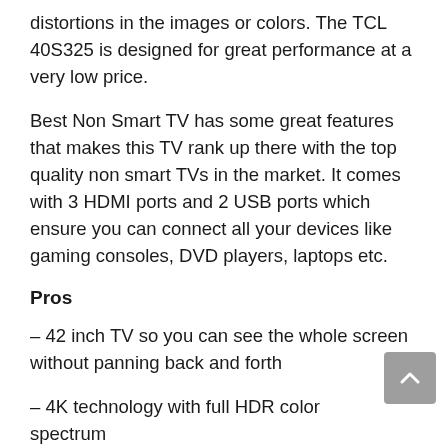distortions in the images or colors. The TCL 40S325 is designed for great performance at a very low price.
Best Non Smart TV has some great features that makes this TV rank up there with the top quality non smart TVs in the market. It comes with 3 HDMI ports and 2 USB ports which ensure you can connect all your devices like gaming consoles, DVD players, laptops etc.
Pros
– 42 inch TV so you can see the whole screen without panning back and forth
– 4K technology with full HDR color spectrum